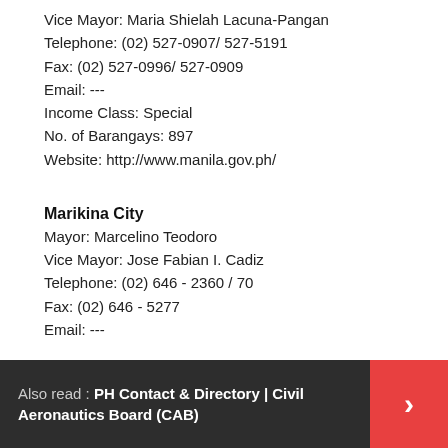Vice Mayor: Maria Shielah Lacuna-Pangan
Telephone: (02) 527-0907/ 527-5191
Fax: (02) 527-0996/ 527-0909
Email: ---
Income Class: Special
No. of Barangays: 897
Website: http://www.manila.gov.ph/
Marikina City
Mayor: Marcelino Teodoro
Vice Mayor: Jose Fabian I. Cadiz
Telephone: (02) 646 - 2360 / 70
Fax: (02) 646 - 5277
Email: ---
Also read : PH Contact & Directory | Civil Aeronautics Board (CAB)